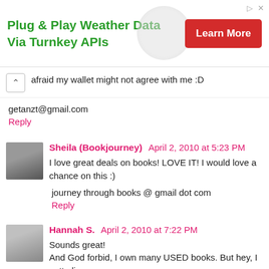[Figure (other): Advertisement banner: 'Plug & Play Weather Data Via Turnkey APIs' with a red 'Learn More' button and globe graphic]
afraid my wallet might not agree with me :D
getanzt@gmail.com
Reply
Sheila (Bookjourney)  April 2, 2010 at 5:23 PM
I love great deals on books! LOVE IT! I would love a chance on this :)
journey through books @ gmail dot com
Reply
Hannah S.  April 2, 2010 at 7:22 PM
Sounds great!
And God forbid, I own many USED books. But hey, I gotta live